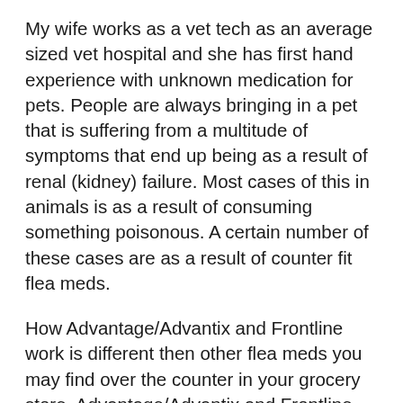My wife works as a vet tech as an average sized vet hospital and she has first hand experience with unknown medication for pets. People are always bringing in a pet that is suffering from a multitude of symptoms that end up being as a result of renal (kidney) failure. Most cases of this in animals is as a result of consuming something poisonous. A certain number of these cases are as a result of counter fit flea meds.
How Advantage/Advantix and Frontline work is different then other flea meds you may find over the counter in your grocery store. Advantage/Advantix and Frontline work by not absorbing directly into the blood steam. However, other flea medications do absorb into the blood stream, where your pet's kidneys have to work to filter it out. For users of